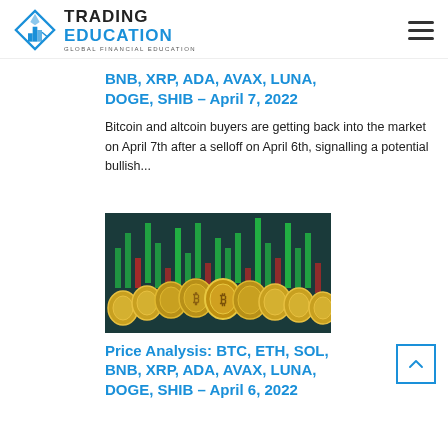Trading Education — Global Financial Education
BNB, XRP, ADA, AVAX, LUNA, DOGE, SHIB – April 7, 2022
Bitcoin and altcoin buyers are getting back into the market on April 7th after a selloff on April 6th, signalling a potential bullish...
[Figure (photo): Cryptocurrency coins arranged in a row with a green candlestick chart background]
Price Analysis: BTC, ETH, SOL, BNB, XRP, ADA, AVAX, LUNA, DOGE, SHIB – April 6, 2022